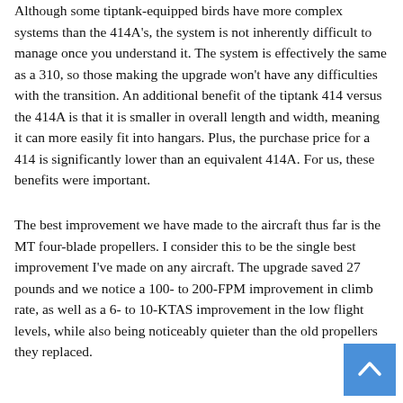Although some tiptank-equipped birds have more complex systems than the 414A's, the system is not inherently difficult to manage once you understand it. The system is effectively the same as a 310, so those making the upgrade won't have any difficulties with the transition. An additional benefit of the tiptank 414 versus the 414A is that it is smaller in overall length and width, meaning it can more easily fit into hangars. Plus, the purchase price for a 414 is significantly lower than an equivalent 414A. For us, these benefits were important.
The best improvement we have made to the aircraft thus far is the MT four-blade propellers. I consider this to be the single best improvement I've made on any aircraft. The upgrade saved 27 pounds and we notice a 100- to 200-FPM improvement in climb rate, as well as a 6- to 10-KTAS improvement in the low flight levels, while also being noticeably quieter than the old propellers they replaced.
[Figure (other): A blue square button with an upward-pointing chevron arrow, used as a 'back to top' navigation button, positioned in the bottom-right corner.]